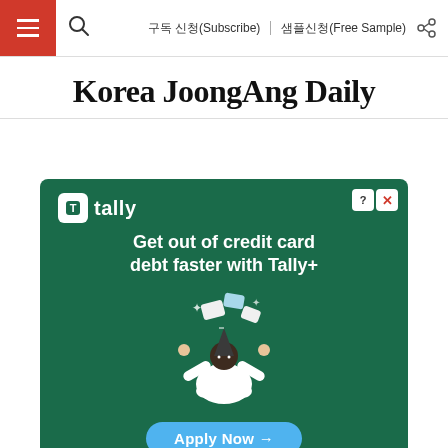Korea JoongAng Daily — Navigation bar with hamburger menu, search, 구독 신청(Subscribe), 샘플신청(Free Sample)
Korea JoongAng Daily
[Figure (illustration): Tally advertisement banner on dark green background. Shows Tally logo, headline 'Get out of credit card debt faster with Tally+', an illustration of a person sitting cross-legged juggling credit cards, an 'Apply Now >' button, and legal disclaimer text at the bottom.]